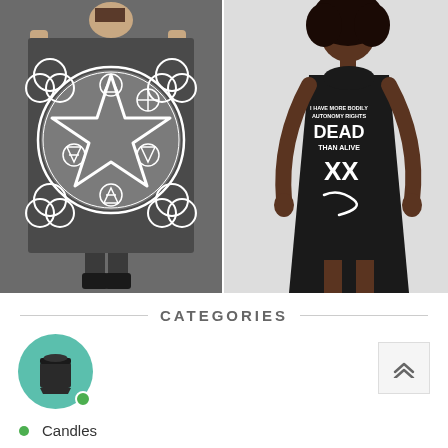[Figure (photo): Person holding a large dark grey square scarf/tapestry featuring a white pentagram star inside a circle with Celtic trinity knot symbols at corners and elemental symbols around the star. The background of the tapestry is dark grey.]
[Figure (photo): A woman wearing a black sleeveless A-line dress. The dress has white text that reads 'I HAVE MORE BODILY AUTONOMY RIGHTS DEAD THAN ALIVE' with XX markings and a signature below.]
CATEGORIES
[Figure (illustration): Teal circle icon with a coffee/tea cup silhouette (takeaway cup with lid) in dark color centered inside.]
Candles